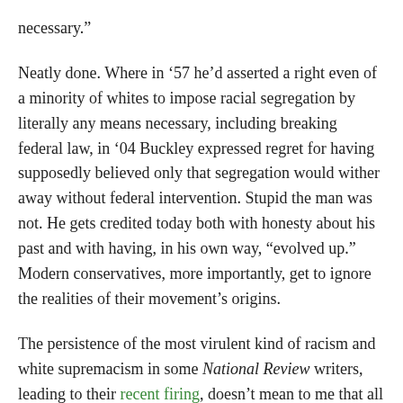necessary.”
Neatly done. Where in ’57 he’d asserted a right even of a minority of whites to impose racial segregation by literally any means necessary, including breaking federal law, in ’04 Buckley expressed regret for having supposedly believed only that segregation would wither away without federal intervention. Stupid the man was not. He gets credited today both with honesty about his past and with having, in his own way, “evolved up.” Modern conservatives, more importantly, get to ignore the realities of their movement’s origins.
The persistence of the most virulent kind of racism and white supremacism in some National Review writers, leading to their recent firing, doesn’t mean to me that all of American conservatism is racist. But I think the firings, and ensuing discussion of them by, for two, Joan Walsh and Alex Pareene at Salon, support a suggestion I made in that essay regarding the nature of Buckley’s evolution away from his 1957 position.